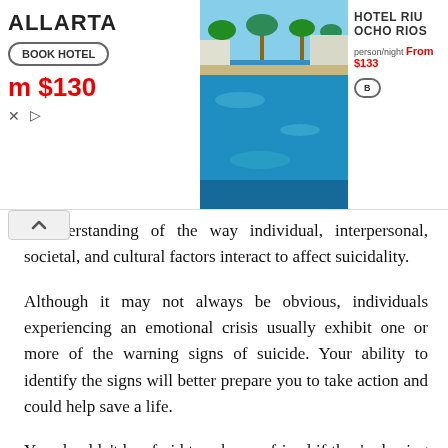[Figure (screenshot): Advertisement banner showing hotel promotions: 'ALLARTA' hotel with 'BOOK HOTEL' button and price 'From $130', a center pool/resort image, and 'HOTEL RIU OCHO RIOS' with 'person/night From $133' and a book button. Ad controls (close X and play button) are visible.]
erstanding of the way individual, interpersonal, societal, and cultural factors interact to affect suicidality.
Although it may not always be obvious, individuals experiencing an emotional crisis usually exhibit one or more of the warning signs of suicide. Your ability to identify the signs will better prepare you to take action and could help save a life.
You shouldn’t be afraid to ask your friend if they’re having thoughts of suicide. By knowing